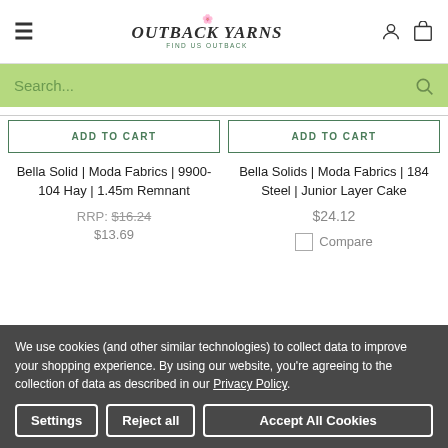Outback Yarns — Find Us Outback
Search...
ADD TO CART
ADD TO CART
Bella Solid | Moda Fabrics | 9900-104 Hay | 1.45m Remnant
RRP: $16.24
$13.69
Bella Solids | Moda Fabrics | 184 Steel | Junior Layer Cake
$24.12
Compare
We use cookies (and other similar technologies) to collect data to improve your shopping experience. By using our website, you're agreeing to the collection of data as described in our Privacy Policy.
Settings | Reject all | Accept All Cookies